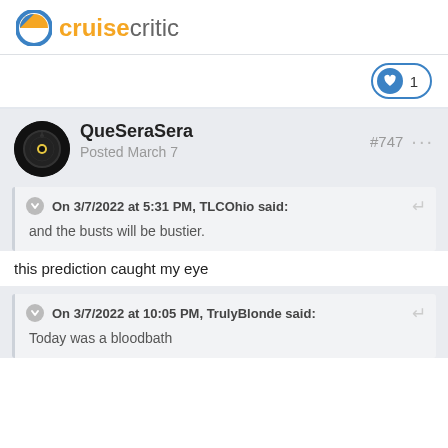cruise critic
1 (like count)
QueSeraSera
Posted March 7
#747
On 3/7/2022 at 5:31 PM, TLCOhio said:
and the busts will be bustier.
this prediction caught my eye
On 3/7/2022 at 10:05 PM, TrulyBlonde said:
Today was a bloodbath